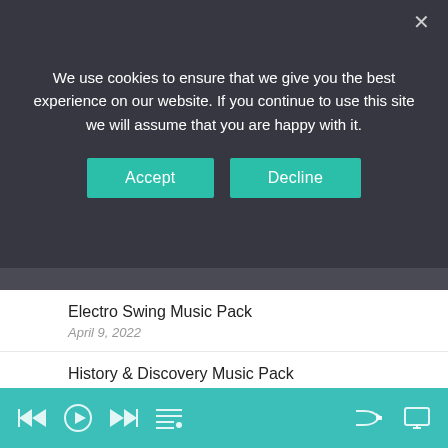We use cookies to ensure that we give you the best experience on our website. If you continue to use this site we will assume that you are happy with it.
RECENT POSTS
Electro Swing Music Pack
April 9, 2022
History & Discovery Music Pack
February 12, 2022
Romantic French Folk Music Pack
January 12, 2022
Relaxing Christmas Jazz Music Pack
November 27, 2021
Christmas Music Pack Vol. 3
October 18, 2021
Media player controls bar